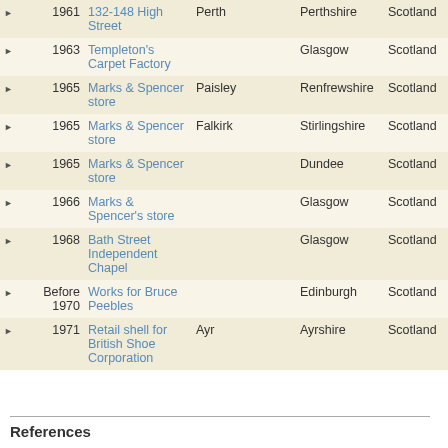|  | Year | Name | Town |  | County | Country | Notes |
| --- | --- | --- | --- | --- | --- | --- | --- |
| ▶ | 1961 | 132-148 High Street | Perth |  | Perthshire | Scotland |  |
| ▶ | 1963 | Templeton's Carpet Factory |  |  | Glasgow | Scotland | Facto... wareh... |
| ▶ | 1965 | Marks & Spencer store | Paisley |  | Renfrewshire | Scotland | Major exten... |
| ▶ | 1965 | Marks & Spencer store | Falkirk |  | Stirlingshire | Scotland | Major exten... |
| ▶ | 1965 | Marks & Spencer store |  |  | Dundee | Scotland | Major exten... |
| ▶ | 1966 | Marks & Spencer's store |  |  | Glasgow | Scotland | Respo... for pl... |
| ▶ | 1968 | Bath Street Independent Chapel |  |  | Glasgow | Scotland | W ad... respo... for pl... |
| ▶ | Before 1970 | Works for Bruce Peebles |  |  | Edinburgh | Scotland |  |
| ▶ | 1971 | Retail shell for British Shoe Corporation | Ayr |  | Ayrshire | Scotland | Unce... involv... |
References